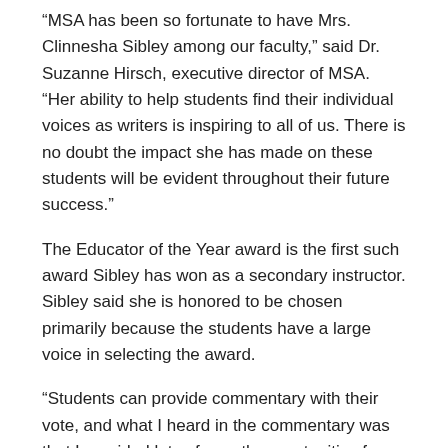“MSA has been so fortunate to have Mrs. Clinnesha Sibley among our faculty,” said Dr. Suzanne Hirsch, executive director of MSA. “Her ability to help students find their individual voices as writers is inspiring to all of us. There is no doubt the impact she has made on these students will be evident throughout their future success.”
The Educator of the Year award is the first such award Sibley has won as a secondary instructor. Sibley said she is honored to be chosen primarily because the students have a large voice in selecting the award.
“Students can provide commentary with their vote, and what I heard in the commentary was that I provided lots of growth opportunities for the students and challenged them to write and think ‘outside of the box,’ and I was really inspired by their reasoning for choosing me for their Educator of the Year,” Sibley said. “To be able to hear what students have to say about you and then recommending that you have this honor, it’s very